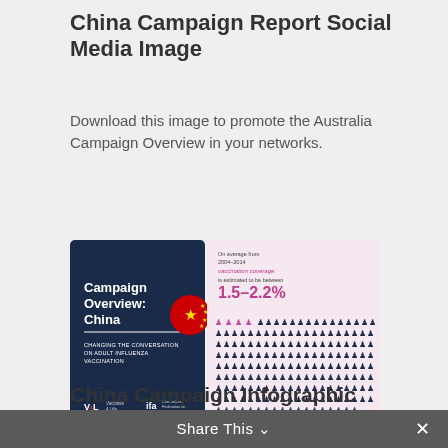China Campaign Report Social Media Image
Download this image to promote the Australia Campaign Overview in your networks.
[Figure (infographic): Infographic thumbnail showing Campaign Overview: China booklet cover on the left (dark navy background, with Vaccines4Life and IFA logos, title 'Campaign Overview: China', subtitle 'Changing the Conversation on Adult Influenza Vaccination', and Chinese flag circle) and an infographic panel on the right with text 'On average from 2004-2014 vaccination coverage is estimated to be between 1.5–2.2%' and a grid of person icons in pink/dark blue.]
China Campaign Infographic Social Media Image
Share This